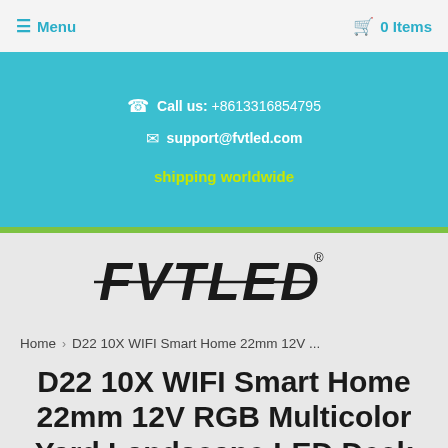≡ Menu   🛒 0 Items
Call us: +8613316854795
support@fvtled.com
shipping worldwide
[Figure (logo): FVTLED brand logo in bold stylized black text with registered trademark symbol]
Home › D22 10X WIFI Smart Home 22mm 12V ...
D22 10X WIFI Smart Home 22mm 12V RGB Multicolor Yard Landscape LED Deck Stair Step